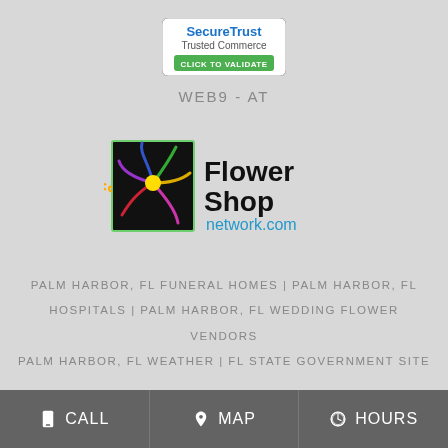[Figure (logo): SecureTrust Trusted Commerce - Click to Validate badge]
WEB9 - AT
[Figure (logo): Flower Shop network.com logo]
PALM HARBOR, FL FUNERAL HOMES | PALM HARBOR, FL HOSPITALS | PALM HARBOR, FL WEDDING FLOWER VENDORS PALM HARBOR, FL WEATHER | FL STATE GOVERNMENT SITE PRIVACY POLICY | TERMS OF PURCHASE
CALL | MAP | HOURS